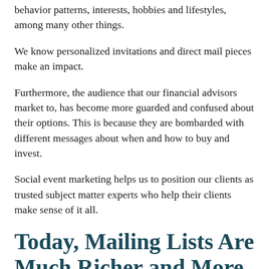behavior patterns, interests, hobbies and lifestyles, among many other things.
We know personalized invitations and direct mail pieces make an impact.
Furthermore, the audience that our financial advisors market to, has become more guarded and confused about their options. This is because they are bombarded with different messages about when and how to buy and invest.
Social event marketing helps us to position our clients as trusted subject matter experts who help their clients make sense of it all.
Today, Mailing Lists Are Much Richer and More Accurate